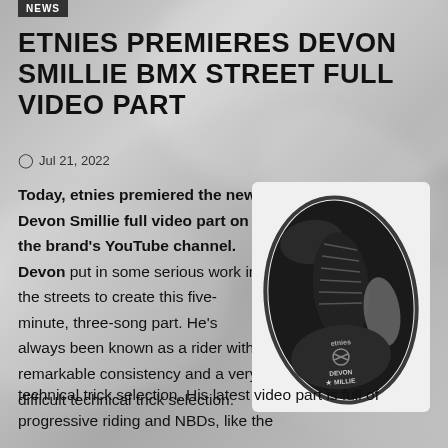NEWS
ETNIES PREMIERES DEVON SMILLIE BMX STREET FULL VIDEO PART
Jul 21, 2022
Today, etnies premiered the new Devon Smillie full video part on the brand's YouTube channel. Devon put in some serious work in the streets to create this five-minute, three-song part. He's always been known as a rider with remarkable consistency and a very difficult technical trick selection. His latest video part is full of progressive riding and NBDs, like the
[Figure (photo): Top-down view of a black etnies Devon Smillie signature shoe with white etnies branding and Devon Smillie text on the insole]